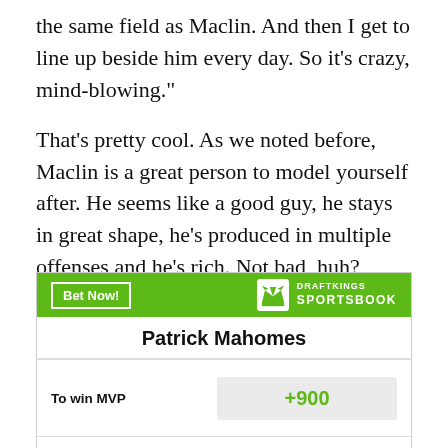the same field as Maclin. And then I get to line up beside him every day. So it's crazy, mind-blowing."
That's pretty cool. As we noted before, Maclin is a great person to model yourself after. He seems like a good guy, he stays in great shape, he's produced in multiple offenses and he's rich. Not bad, huh?
|  |  |
| --- | --- |
| Patrick Mahomes |  |
| To win MVP | +900 |
| To win Offensive Player of the Year | +2000 |
| Most Passing Yards in | +800 |